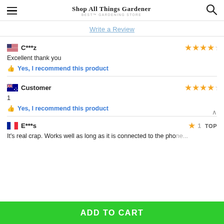Shop All Things Gardener | BEST GARDENING STORE
Write a Review
C***z — 4 stars — Excellent thank you — Yes, I recommend this product
Customer (Australia) — 4 stars — 1 — Yes, I recommend this product
E***s (France) — 1 star — TOP — It's real crap. Works well as long as it is connected to the phone...
ADD TO CART